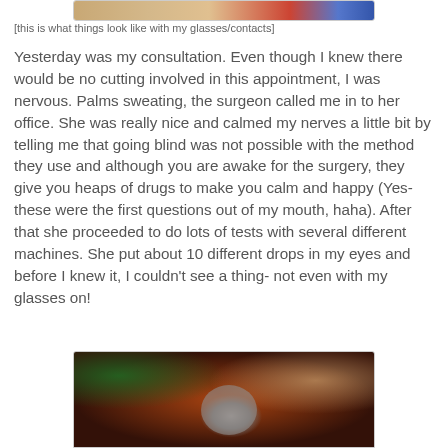[Figure (photo): Partial view of a photo at the top of the page showing blurry colors (part of a cropped image)]
[this is what things look like with my glasses/contacts]
Yesterday was my consultation. Even though I knew there would be no cutting involved in this appointment, I was nervous. Palms sweating, the surgeon called me in to her office. She was really nice and calmed my nerves a little bit by telling me that going blind was not possible with the method they use and although you are awake for the surgery, they give you heaps of drugs to make you calm and happy (Yes- these were the first questions out of my mouth, haha). After that she proceeded to do lots of tests with several different machines. She put about 10 different drops in my eyes and before I knew it, I couldn’t see a thing- not even with my glasses on!
[Figure (photo): Blurry photo showing a bottle or cylindrical object on a surface with warm reddish and green tones, appearing out of focus]